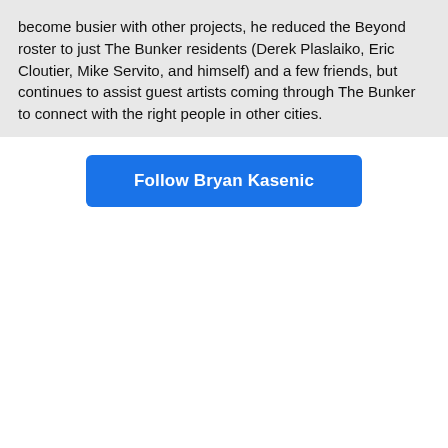become busier with other projects, he reduced the Beyond roster to just The Bunker residents (Derek Plaslaiko, Eric Cloutier, Mike Servito, and himself) and a few friends, but continues to assist guest artists coming through The Bunker to connect with the right people in other cities.
Follow Bryan Kasenic
[Figure (photo): Large black rectangle occupying the lower portion of the page, likely a photo or video thumbnail with no visible content.]